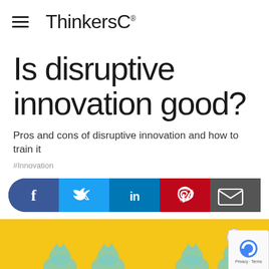ThinkersC®
Is disruptive innovation good?
Pros and cons of disruptive innovation and how to train it
#Innovation
[Figure (infographic): Social sharing bar with Facebook, Twitter, LinkedIn, Pinterest, and email buttons]
[Figure (illustration): Yellow background illustration with cartoon cat characters, one holding a lightbulb, partially visible at bottom of page. reCAPTCHA badge in bottom right corner.]